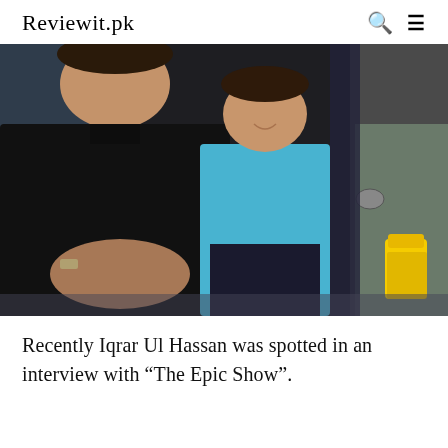Reviewit.pk
[Figure (photo): A man in black clothing sits with a young boy in a light blue shirt, who is smiling. A partially visible person is seated behind/beside them on the right. A yellow cup/bottle is visible at the right side.]
Recently Iqrar Ul Hassan was spotted in an interview with “The Epic Show”.